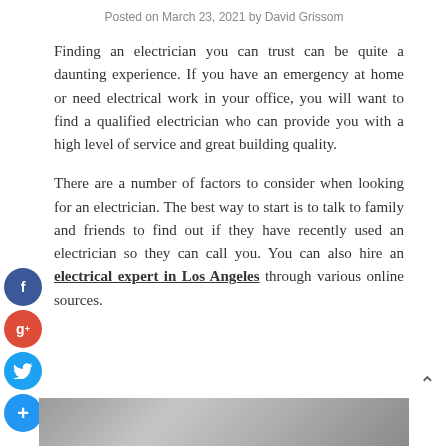Posted on March 23, 2021 by David Grissom
Finding an electrician you can trust can be quite a daunting experience. If you have an emergency at home or need electrical work in your office, you will want to find a qualified electrician who can provide you with a high level of service and great building quality.
There are a number of factors to consider when looking for an electrician. The best way to start is to talk to family and friends to find out if they have recently used an electrician so they can call you. You can also hire an electrical expert in Los Angeles through various online sources.
[Figure (photo): Partial image strip at bottom of page showing a photo]